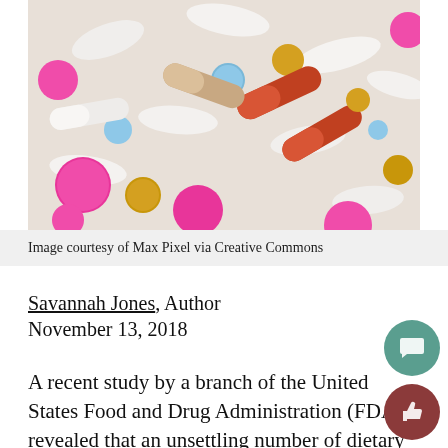[Figure (photo): Close-up photo of various colorful pills and capsules scattered together — pink, white, yellow, blue, brown/red capsules and tablets.]
Image courtesy of Max Pixel via Creative Commons
Savannah Jones, Author
November 13, 2018
A recent study by a branch of the United States Food and Drug Administration (FDA) revealed that an unsettling number of dietary supplements sold between 2007 and 2016 contained unapproved drug ingredients. Distributors like Healthy People Co. and Midwest Wholesale were exposed for having sold nearly 800 different supplements